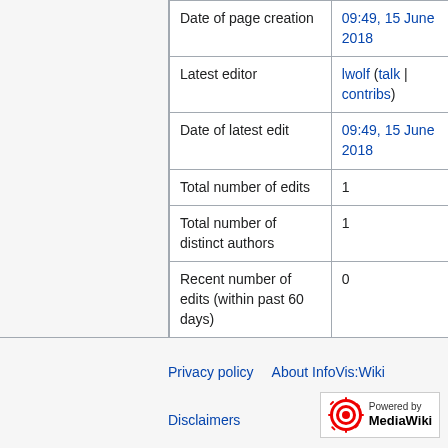|  |  |
| --- | --- |
| Date of page creation | 09:49, 15 June 2018 |
| Latest editor | lwolf (talk | contribs) |
| Date of latest edit | 09:49, 15 June 2018 |
| Total number of edits | 1 |
| Total number of distinct authors | 1 |
| Recent number of edits (within past 60 days) | 0 |
| Recent number of distinct authors | 0 |
Privacy policy   About InfoVis:Wiki   Disclaimers